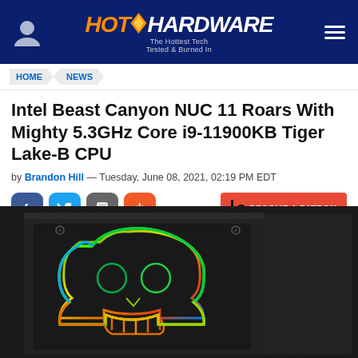HotHardware — The Hottest Tech Tested & Burned In
HOME > NEWS
Intel Beast Canyon NUC 11 Roars With Mighty 5.3GHz Core i9-11900KB Tiger Lake-B CPU
by Brandon Hill — Tuesday, June 08, 2021, 02:19 PM EDT
[Figure (screenshot): Social share buttons (Facebook, Twitter, Save, Plus) and Become a Patron button]
[Figure (photo): Intel Beast Canyon NUC 11 mini PC with RGB skull logo on front panel, black chassis]